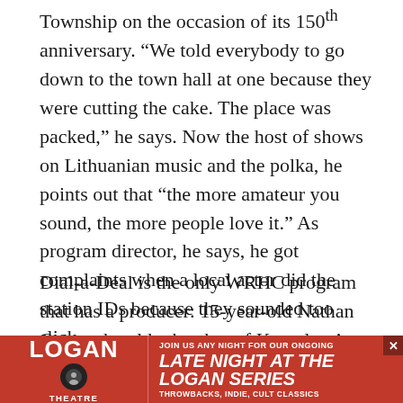Township on the occasion of its 150th anniversary. “We told everybody to go down to the town hall at one because they were cutting the cake. The place was packed,” he says. Now the host of shows on Lithuanian music and the polka, he points out that “the more amateur you sound, the more people love it.” As program director, he says, he got complaints when a local actor did the station IDs because they sounded too slick.
Dial-a-Deal is the only WRHC program that has a producer: 15-year-old Nathan Oman, the older brother of Knowlton’s youngest son’s best friend (which she found out only after taking him on). “Now everyone
[Figure (other): Advertisement banner for The Logan Theatre: red background with white text reading 'THE LOGAN THEATRE — JOIN US ANY NIGHT FOR OUR ONGOING LATE NIGHT AT THE LOGAN SERIES — THROWBACKS, INDIE, CULT CLASSICS' with a close button (×) in upper right corner.]